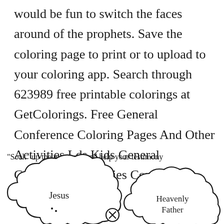would be fun to switch the faces around of the prophets. Save the coloring page to print or to upload to your coloring app. Search through 623989 free printable colorings at GetColorings. Free General Conference Coloring Pages And Other Activities Lds Kids General Conference Activities Conference Coloring Pages.
[Figure (illustration): Handwritten text reading '"Soak" up the messages and help your testimony' with two cloud shapes below containing the words 'Jesus' and 'Heavenly Father', and a circled X symbol between them.]